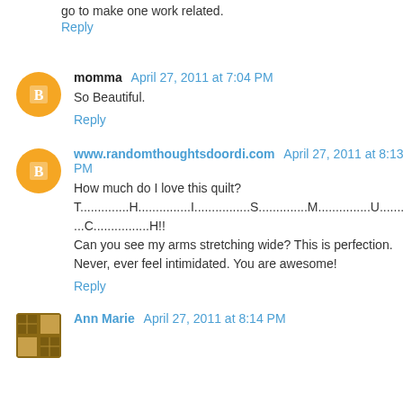go to make one work related.
Reply
momma April 27, 2011 at 7:04 PM
So Beautiful.
Reply
www.randomthoughtsdoordi.com April 27, 2011 at 8:13 PM
How much do I love this quilt? T..............H...............I................S..............M...............U................ ...C................H!! Can you see my arms stretching wide? This is perfection. Never, ever feel intimidated. You are awesome!
Reply
Ann Marie April 27, 2011 at 8:14 PM